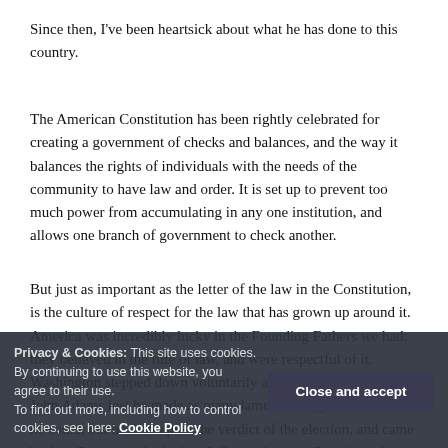Since then, I've been heartsick about what he has done to this country.
The American Constitution has been rightly celebrated for creating a government of checks and balances, and the way it balances the rights of individuals with the needs of the community to have law and order. It is set up to prevent too much power from accumulating in any one institution, and allows one branch of government to check another.
But just as important as the letter of the law in the Constitution, is the culture of respect for the law that has grown up around it. America was incredibly lucky in the Founding Fathers we had; they believed in the rule of law, and were respectful of it. Washington stepped down voluntarily after two terms; when John Adams lost he made as many lame duck appointments as he could, but he'd accepted the verdict of the election, and came back to Braintree. And when Jefferson became President, there were no purges of Federalists; the streets did not run with
Privacy & Cookies: This site uses cookies. By continuing to use this website, you agree to their use. To find out more, including how to control cookies, see here: Cookie Policy